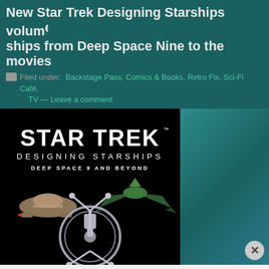New Star Trek Designing Starships volume ships from Deep Space Nine to the movies
Filed under: Backstage Pass, Comics & Books, Retro Fix, Sci-Fi Café, TV — Leave a comment
[Figure (illustration): Book cover for Star Trek Designing Starships: Deep Space 9 and Beyond, showing the title text in Star Trek font over a black background with images of starships including a Ferengi Marauder, a Romulan Warbird, and Deep Space Nine station]
Advertise here
[Figure (illustration): Pocket Casts advertisement banner in red: An app by listeners, for listeners. Shows a smartphone with the Pocket Casts logo.]